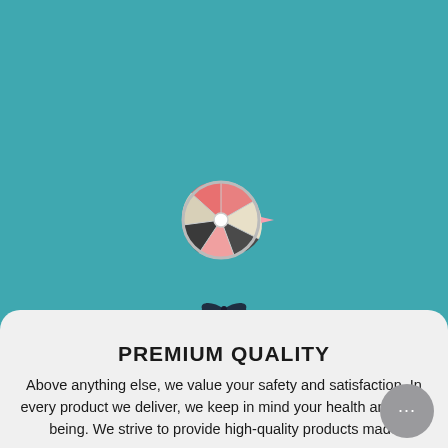[Figure (illustration): Teal/blue-green background with a small spinning prize wheel icon in the center, and a small bow/ribbon decoration at the bottom of the teal area. A chat bubble widget is visible in the lower right.]
PREMIUM QUALITY
Above anything else, we value your safety and satisfaction. In every product we deliver, we keep in mind your health and well-being. We strive to provide high-quality products made